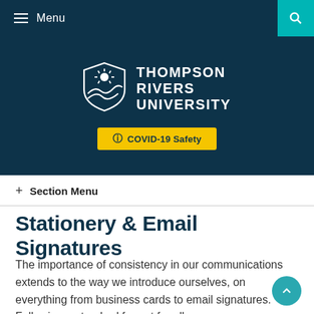Menu
[Figure (logo): Thompson Rivers University shield logo with text: THOMPSON RIVERS UNIVERSITY]
COVID-19 Safety
+ Section Menu
Stationery & Email Signatures
The importance of consistency in our communications extends to the way we introduce ourselves, on everything from business cards to email signatures. Following a standard format for all